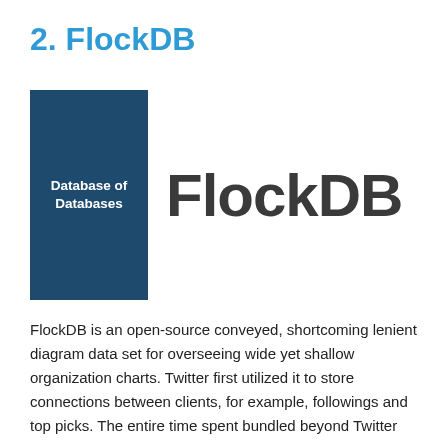2. FlockDB
[Figure (logo): Database of Databases logo (dark blue rectangle with white text) next to large 'FlockDB' brand name in dark gray]
FlockDB is an open-source conveyed, shortcoming lenient diagram data set for overseeing wide yet shallow organization charts. Twitter first utilized it to store connections between clients, for example, followings and top picks. The entire time spent bundled beyond Twitter